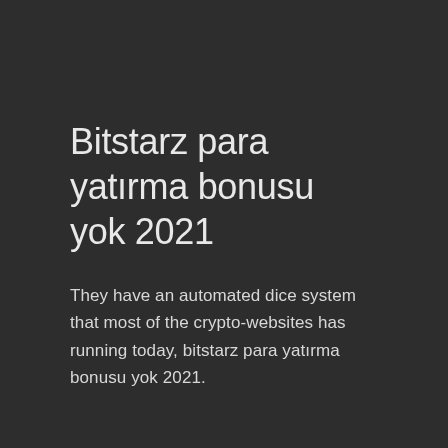Bitstarz para yatırma bonusu yok 2021
They have an automated dice system that most of the crypto-websites has running today, bitstarz para yatırma bonusu yok 2021.